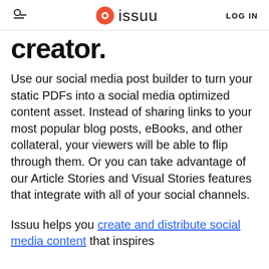issuu  LOG IN
creator.
Use our social media post builder to turn your static PDFs into a social media optimized content asset. Instead of sharing links to your most popular blog posts, eBooks, and other collateral, your viewers will be able to flip through them. Or you can take advantage of our Article Stories and Visual Stories features that integrate with all of your social channels.
Issuu helps you create and distribute social media content that inspires